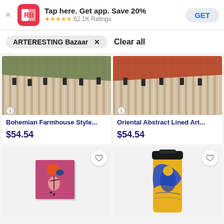[Figure (screenshot): App banner: RB logo, 'Tap here. Get app. Save 20%', 5-star rating, 62.1K Ratings, GET button]
ARTERESTING Bazaar  ×    Clear all
[Figure (photo): Bohemian farmhouse style rug product image]
Bohemian Farmhouse Style...
$54.54
[Figure (photo): Oriental abstract lined art rug product image]
Oriental Abstract Lined Art...
$54.54
[Figure (photo): Abstract art canvas print on pink background]
[Figure (photo): Yellow travel mug with blue bird illustration]